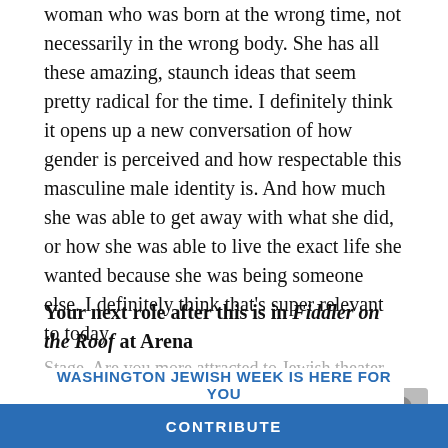woman who was born at the wrong time, not necessarily in the wrong body. She has all these amazing, staunch ideas that seem pretty radical for the time. I definitely think it opens up a new conversation of how gender is perceived and how respectable this masculine male identity is. And how much she was able to get away with what she did, or how she was able to live the exact life she wanted because she was being someone else. I definitely think that's super relevant to today.
Your next role after this is in Fiddler on the Roof at Arena
Stage. Are you more attracted to Jewish theater roles, or is it more of a happy circumstance that they come your way?
WASHINGTON JEWISH WEEK IS HERE FOR YOU
Your voluntary contribution supports our efforts to deliver content that engages and helps strengthen the Jewish community in the DMV.
CONTRIBUTE
opportunity for me to be playing Yentl at Theater J and the doing Fiddler. I've never been the most religious, but I did grew up in a very Jewishly cultural family. It totally just happened